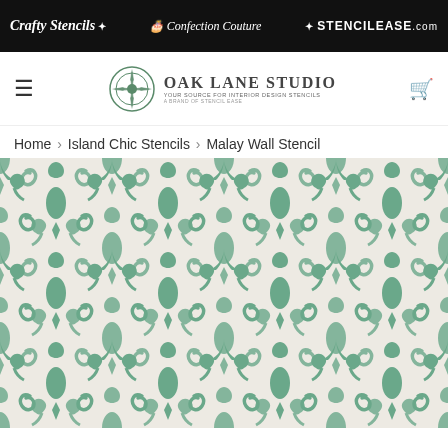Crafty Stencils ✦ Confection Couture ✦ STENCILEASE.com
[Figure (logo): Oak Lane Studio logo with ornamental emblem and tagline: YOUR SOURCE FOR INTERIOR DESIGN STENCILS, A BRAND OF STENCIL EASE]
Home › Island Chic Stencils › Malay Wall Stencil
[Figure (photo): Malay Wall Stencil product image showing a repeating teal/sage green ornamental damask-style pattern on a light cream background]